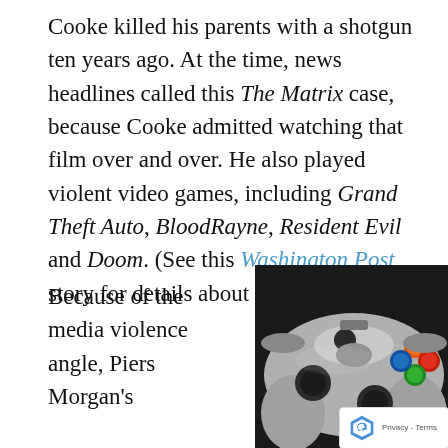Cooke killed his parents with a shotgun ten years ago. At the time, news headlines called this The Matrix case, because Cooke admitted watching that film over and over. He also played violent video games, including Grand Theft Auto, BloodRayne, Resident Evil and Doom. (See this Washington Post story for details about the case.)
Because of the media violence angle, Piers Morgan's
[Figure (photo): Close-up photo of a white/gray video game controller with colorful buttons (blue, orange, red, green) on a dark background]